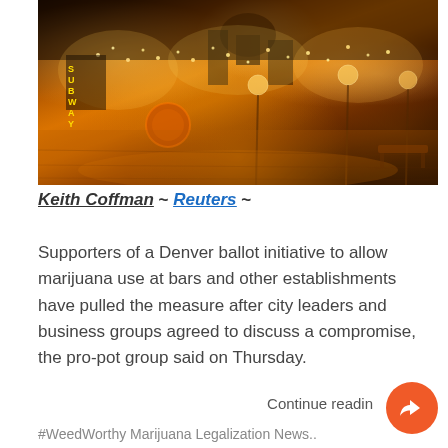[Figure (photo): Night photo of a city street (Denver 16th Street Mall) with trees decorated in warm white lights, globe street lamps, a Subway sign, and a gold-domed building in the background. Scene has warm orange/amber tones from the lighting on brick pavement.]
Keith Coffman ~ Reuters ~
Supporters of a Denver ballot initiative to allow marijuana use at bars and other establishments have pulled the measure after city leaders and business groups agreed to discuss a compromise, the pro-pot group said on Thursday.
Continue reading
#WeedWorthy Marijuana Legalization News..